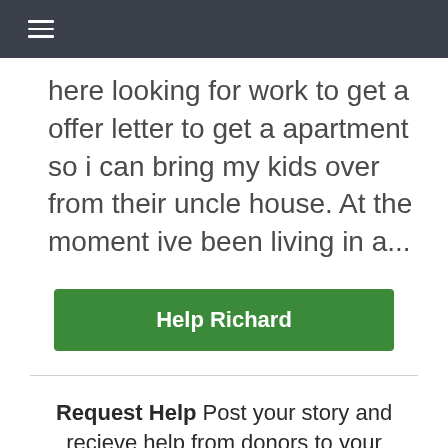≡
here looking for work to get a offer letter to get a apartment so i can bring my kids over from their uncle house. At the moment ive been living in a...
Help Richard
Request Help Post your story and recieve help from donors to your Paypal account.